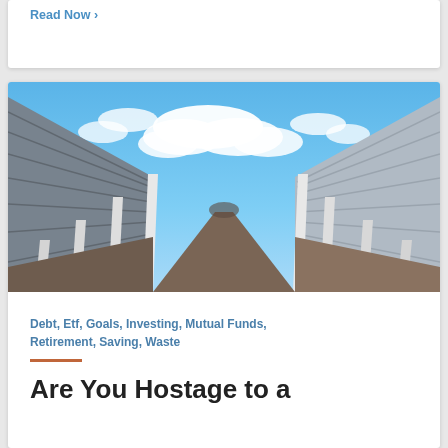Read Now >
[Figure (photo): Perspective view of a long outdoor self-storage facility corridor with roll-up metal doors on both sides and a dramatic blue sky with white clouds overhead.]
Debt, Etf, Goals, Investing, Mutual Funds, Retirement, Saving, Waste
Are You Hostage to a